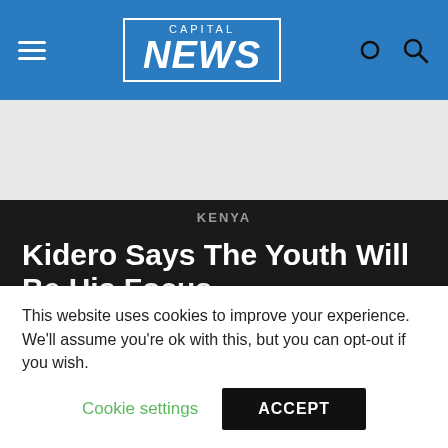CAPITAL NEWS
[Figure (other): Grey advertisement banner area]
KENYA
Kidero Says The Youth Will Be His Focus
By SIMON NDONGA
Published September 6, 2012
This website uses cookies to improve your experience. We'll assume you're ok with this, but you can opt-out if you wish.
Cookie settings
ACCEPT